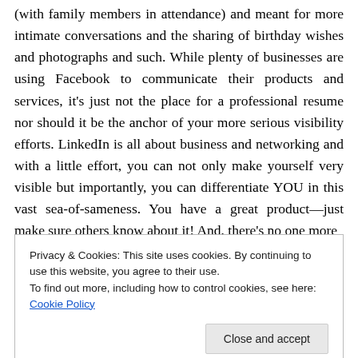(with family members in attendance) and meant for more intimate conversations and the sharing of birthday wishes and photographs and such. While plenty of businesses are using Facebook to communicate their products and services, it's just not the place for a professional resume nor should it be the anchor of your more serious visibility efforts. LinkedIn is all about business and networking and with a little effort, you can not only make yourself very visible but importantly, you can differentiate YOU in this vast sea-of-sameness. You have a great product—just make sure others know about it! And, there's no one more
Privacy & Cookies: This site uses cookies. By continuing to use this website, you agree to their use. To find out more, including how to control cookies, see here: Cookie Policy
Close and accept
Don't miss out: